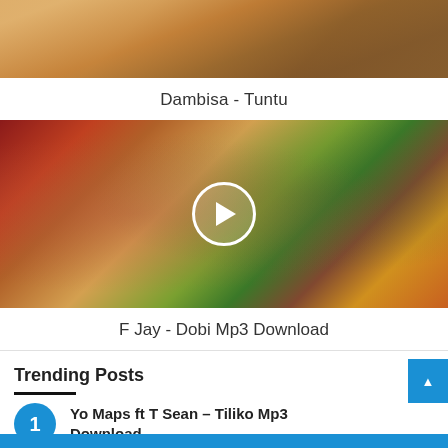[Figure (photo): Partial top image, cropped music/artist photo with warm brown/orange tones]
Dambisa - Tuntu
[Figure (photo): Music video thumbnail showing two people in colorful outfits with a play button overlay, outdoor scene with warm lighting]
F Jay - Dobi Mp3 Download
Trending Posts
Yo Maps ft T Sean – Tiliko Mp3 Download